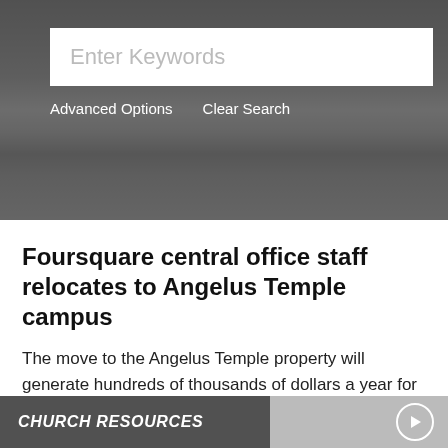[Figure (screenshot): Grayscale photo of a multi-story office building with street-level parking and vehicles]
Enter Keywords
Advanced Options   Clear Search
Foursquare central office staff relocates to Angelus Temple campus
The move to the Angelus Temple property will generate hundreds of thousands of dollars a year for funding local Foursquare church ministry initiatives.
CHURCH RESOURCES